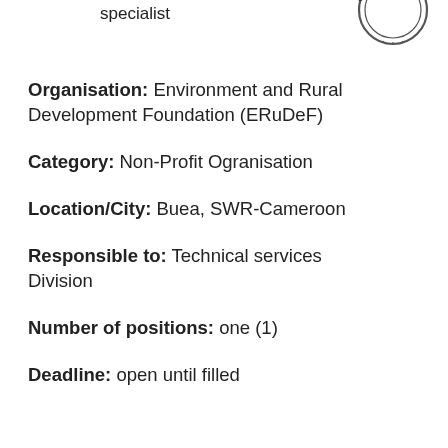specialist
[Figure (logo): Circular stamp/logo with text CAMEROON around the border]
Organisation: Environment and Rural Development Foundation (ERuDeF)
Category: Non-Profit Ogranisation
Location/City: Buea, SWR-Cameroon
Responsible to: Technical services Division
Number of positions: one (1)
Deadline: open until filled